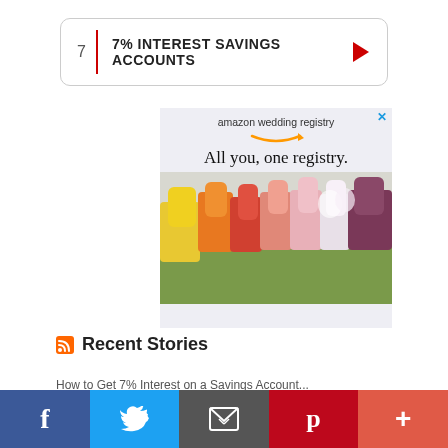7  7% INTEREST SAVINGS ACCOUNTS
[Figure (illustration): Amazon wedding registry advertisement showing colorful flowers arranged in a row with text 'amazon wedding registry' and 'All you, one registry.']
Recent Stories
story teaser text (partially visible)